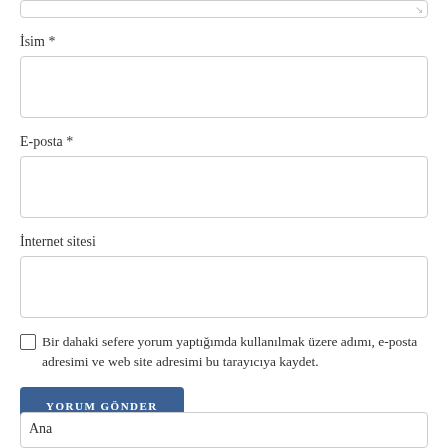[textarea top partial]
İsim *
[input box]
E-posta *
[input box]
İnternet sitesi
[input box]
Bir dahaki sefere yorum yaptığımda kullanılmak üzere adımı, e-posta adresimi ve web site adresimi bu tarayıcıya kaydet.
YORUM GÖNDER
Ana